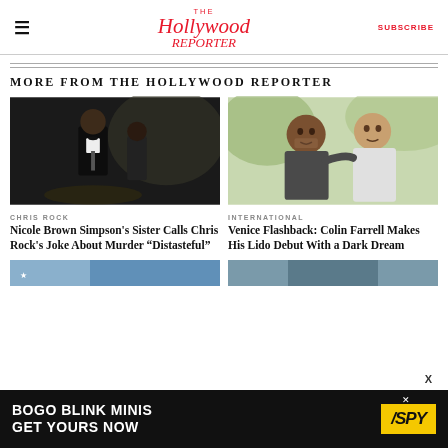The Hollywood Reporter | SUBSCRIBE
MORE FROM THE HOLLYWOOD REPORTER
[Figure (photo): Chris Rock in tuxedo at awards ceremony, dark background]
CHRIS ROCK
Nicole Brown Simpson's Sister Calls Chris Rock's Joke About Murder “Distasteful”
[Figure (photo): Two men smiling with arms around each other, Colin Farrell and another man outdoors]
INTERNATIONAL
Venice Flashback: Colin Farrell Makes His Lido Debut With a Dark Dream
[Figure (photo): Partially visible bottom strip images]
[Figure (screenshot): Advertisement: BOGO BLINK MINIS GET YOURS NOW - SPY brand ad banner]